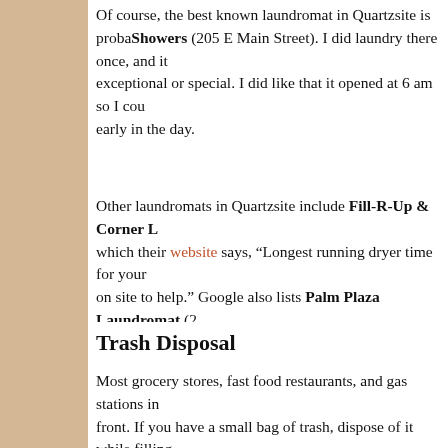Of course, the best known laundromat in Quartzsite is probably Showers (205 E Main Street). I did laundry there once, and it was not exceptional or special. I did like that it opened at 6 am so I could start early in the day.
Other laundromats in Quartzsite include Fill-R-Up & Corner L which their website says, "Longest running dryer time for your on site to help." Google also lists Palm Plaza Laundromat (2 Suds (543 W. Main Street).
Trash Disposal
Most grocery stores, fast food restaurants, and gas stations in front. If you have a small bag of trash, dispose of it while filling store or restaurant. If you rather collect your trash in large bag several days worth of trash, you may need to visit the dump, a Station. The dump is located north of town on Highway 95; th According to the Wastebits website, the hours of operation are 7:30 am to 2:30 pm. I forgot to say it at first, but a reader remi dump your trash at the Quartzsite Transfer Station; the service
Outdoor Recreation